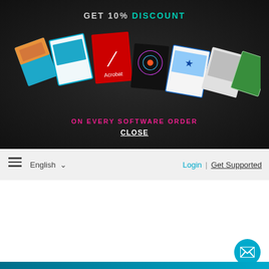[Figure (screenshot): Dark banner with software product boxes (Adobe Acrobat, etc.) and promotional text 'GET 10% DISCOUNT' and 'ON EVERY SOFTWARE ORDER']
GET 10% DISCOUNT
ON EVERY SOFTWARE ORDER
CLOSE
English  Login  |  Get Supported
SOFTWAREDEAL
Toll Free (US)
+1 888 408 9934
Categories
Cart (0)